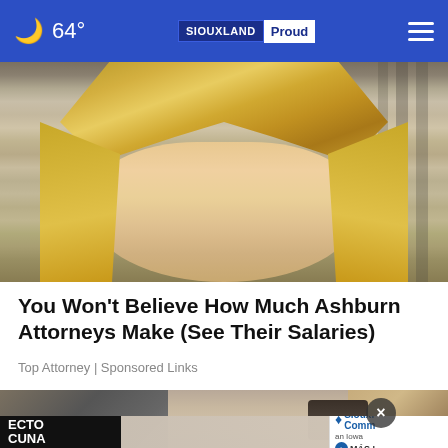64° SIOUXLAND Proud
[Figure (photo): Close-up photo of a blonde woman's face, partially cropped, with columns visible in the background]
You Won't Believe How Much Ashburn Attorneys Make (See Their Salaries)
Top Attorney | Sponsored Links
[Figure (photo): Partially visible image of a person holding an object, with an overlay advertisement banner showing 'ECTO CUNA' text on left and 'Siouxland Community' logo on right with 'MÁS I...' button]